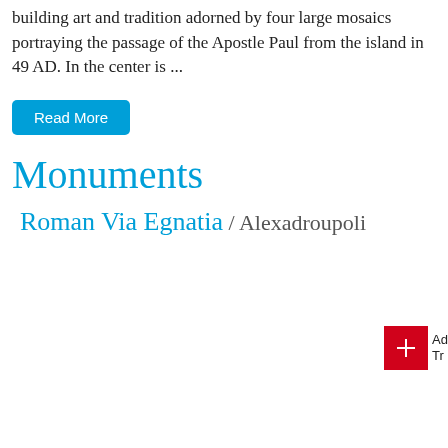building art and tradition adorned by four large mosaics portraying the passage of the Apostle Paul from the island in 49 AD. In the center is ...
Read More
Monuments
Roman Via Egnatia / Alexadroupoli
[Figure (other): Advertisement or promotional image area (partially visible)]
...
Read More
Lighthouse of Alexandroupoli /